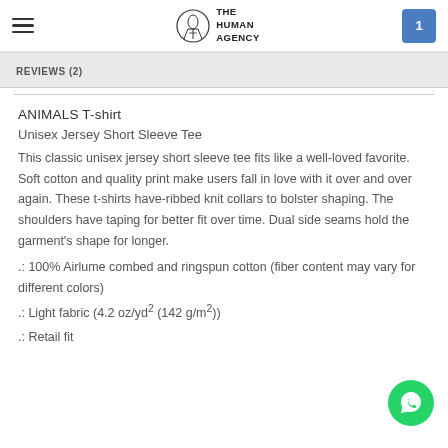THE HUMAN AGENCY — navigation bar with hamburger menu and cart (1)
REVIEWS (2)
ANIMALS T-shirt
Unisex Jersey Short Sleeve Tee
This classic unisex jersey short sleeve tee fits like a well-loved favorite. Soft cotton and quality print make users fall in love with it over and over again. These t-shirts have-ribbed knit collars to bolster shaping. The shoulders have taping for better fit over time. Dual side seams hold the garment's shape for longer.
.: 100% Airlume combed and ringspun cotton (fiber content may vary for different colors)
.: Light fabric (4.2 oz/yd² (142 g/m²))
.: Retail fit